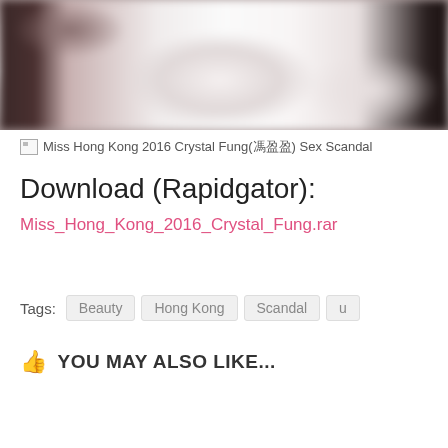[Figure (photo): Blurred/censored photo of a hotel bed scene]
[Figure (photo): Broken image placeholder: Miss Hong Kong 2016 Crystal Fung(馮盈盈) Sex Scandal]
Download (Rapidgator):
Miss_Hong_Kong_2016_Crystal_Fung.rar
Tags: Beauty  Hong Kong  Scandal  u
YOU MAY ALSO LIKE...